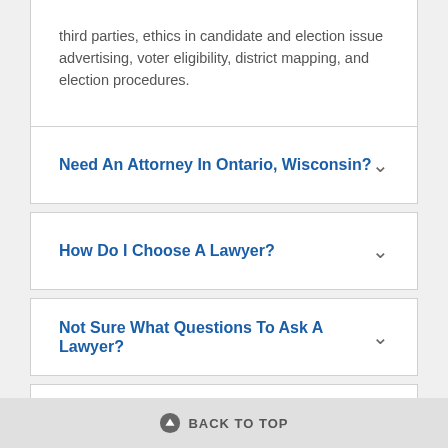third parties, ethics in candidate and election issue advertising, voter eligibility, district mapping, and election procedures.
Need An Attorney In Ontario, Wisconsin?
How Do I Choose A Lawyer?
Not Sure What Questions To Ask A Lawyer?
Want To Check Lawyer Discipline?
BACK TO TOP